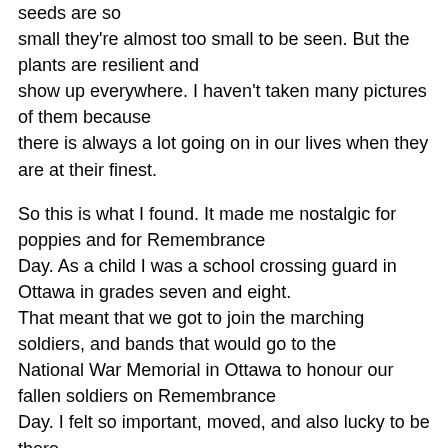seeds are so small they're almost too small to be seen. But the plants are resilient and show up everywhere. I haven't taken many pictures of them because there is always a lot going on in our lives when they are at their finest.
So this is what I found. It made me nostalgic for poppies and for Remembrance Day. As a child I was a school crossing guard in Ottawa in grades seven and eight. That meant that we got to join the marching soldiers, and bands that would go to the National War Memorial in Ottawa to honour our fallen soldiers on Remembrance Day. I felt so important, moved, and also lucky to be there.
As an adult teacher a few years ago I taught a soldier who fought in Afghanistan. His view of war was very immediate. He had PTSD (post traumatic stress disorder). He was 21 when he came home, and did not think of himself